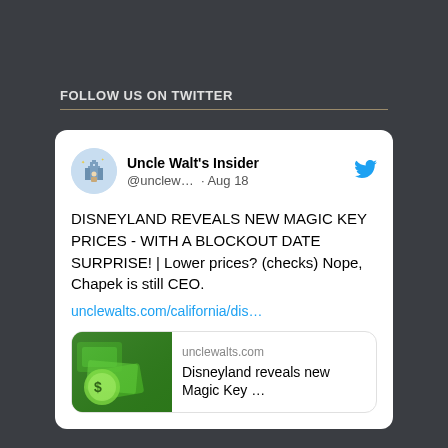FOLLOW US ON TWITTER
[Figure (screenshot): Embedded tweet from Uncle Walt's Insider (@unclewalts) dated Aug 18. Tweet text: 'DISNEYLAND REVEALS NEW MAGIC KEY PRICES - WITH A BLOCKOUT DATE SURPRISE! | Lower prices? (checks) Nope, Chapek is still CEO.' with link unclewalts.com/california/dis… and a link preview card showing unclewalts.com site with title 'Disneyland reveals new Magic Key ...']